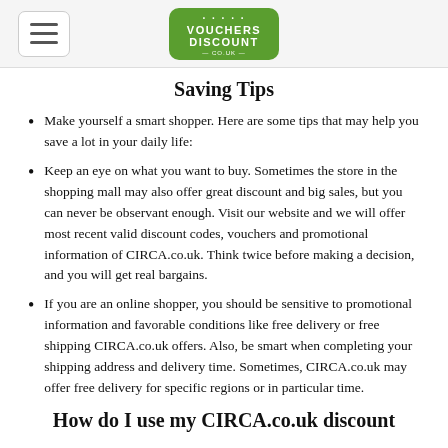Vouchers Discount co.uk logo and navigation
Saving Tips
Make yourself a smart shopper. Here are some tips that may help you save a lot in your daily life:
Keep an eye on what you want to buy. Sometimes the store in the shopping mall may also offer great discount and big sales, but you can never be observant enough. Visit our website and we will offer most recent valid discount codes, vouchers and promotional information of CIRCA.co.uk. Think twice before making a decision, and you will get real bargains.
If you are an online shopper, you should be sensitive to promotional information and favorable conditions like free delivery or free shipping CIRCA.co.uk offers. Also, be smart when completing your shipping address and delivery time. Sometimes, CIRCA.co.uk may offer free delivery for specific regions or in particular time.
How do I use my CIRCA.co.uk discount